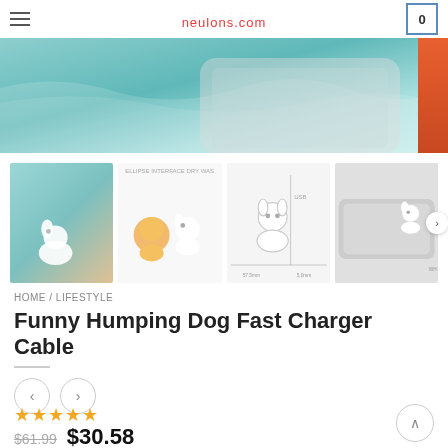neulons.com
[Figure (photo): Main product hero image showing phone with teal/blue ocean resin art and orange cable]
[Figure (photo): Thumbnail strip of 4 product images showing funny humping dog charger cable in various views]
HOME / LIFESTYLE
Funny Humping Dog Fast Charger Cable
[Figure (other): Navigation previous/next circle buttons]
[Figure (other): 5-star rating]
$61.99  $30.58